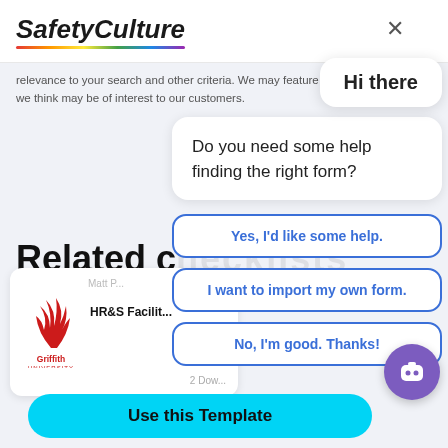[Figure (screenshot): SafetyCulture website header with italic bold logo and rainbow underline, X close button top right]
relevance to your search and other criteria. We may feature checklists based on we think may be of interest to our customers.
Related checklists
[Figure (screenshot): Chatbot popup overlay with 'Hi there' bubble, question 'Do you need some help finding the right form?' and three choice buttons: 'Yes, I'd like some help.', 'I want to import my own form.', 'No, I'm good. Thanks!']
[Figure (logo): Griffith University logo - red stylized wheat/leaves icon above text 'Griffith UNIVERSITY']
HR&S Facilit...
2 Dow...
Use this Template